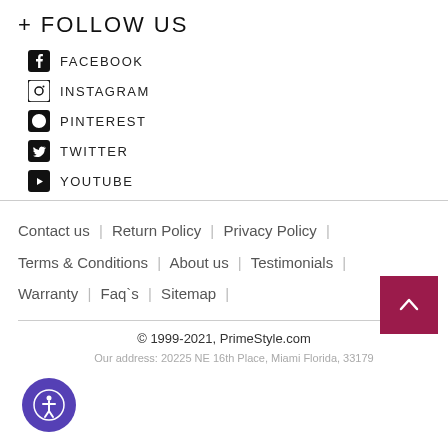+ FOLLOW US
FACEBOOK
INSTAGRAM
PINTEREST
TWITTER
YOUTUBE
Contact us | Return Policy | Privacy Policy | Terms & Conditions | About us | Testimonials | Warranty | Faq`s | Sitemap |
© 1999-2021, PrimeStyle.com
Our address: 20225 NE 16th Place, Miami Florida, 33179